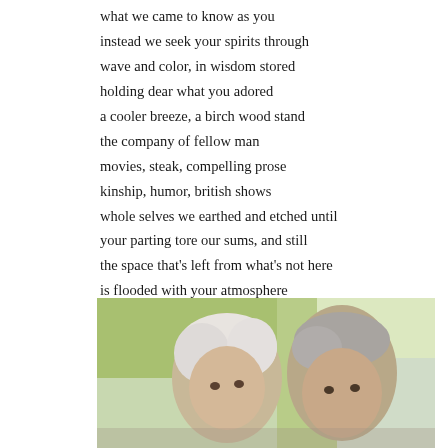what we came to know as you
instead we seek your spirits through
wave and color, in wisdom stored
holding dear what you adored
a cooler breeze, a birch wood stand
the company of fellow man
movies, steak, compelling prose
kinship, humor, british shows
whole selves we earthed and etched until
your parting tore our sums, and still
the space that's left from what's not here
is flooded with your atmosphere
of love and mirth, assuredness
our priceless promise inheritance
we miss you, we miss you, and feel your light
our parents pooled in paradise.
[Figure (photo): Photograph of an elderly couple, a white-haired woman and a grey-haired man, outdoors with trees and bright light in the background.]